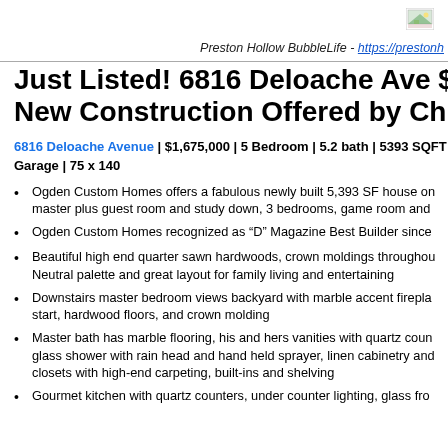Preston Hollow BubbleLife - https://prestonhollowbubblelife.com
[Figure (illustration): Small landscape/image icon in the top right corner of the header]
Just Listed! 6816 Deloache Ave $1... New Construction Offered by Chri...
6816 Deloache Avenue | $1,675,000 | 5 Bedroom | 5.2 bath | 5393 SQFT... Garage | 75 x 140
Ogden Custom Homes offers a fabulous newly built 5,393 SF house on... master plus guest room and study down, 3 bedrooms, game room and...
Ogden Custom Homes recognized as “D” Magazine Best Builder since...
Beautiful high end quarter sawn hardwoods, crown moldings throughout... Neutral palette and great layout for family living and entertaining
Downstairs master bedroom views backyard with marble accent firepla... start, hardwood floors, and crown molding
Master bath has marble flooring, his and hers vanities with quartz coun... glass shower with rain head and hand held sprayer, linen cabinetry and... closets with high-end carpeting, built-ins and shelving
Gourmet kitchen with quartz counters, under counter lighting, glass fro...